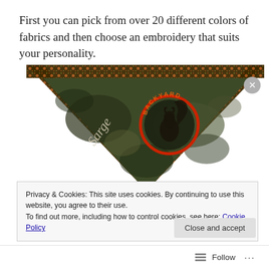First you can pick from over 20 different colors of fabrics and then choose an embroidery that suits your personality.
[Figure (photo): A dark olive/black tie-dye bandana with decorative floral-pattern trim along the edges, embroidered with the name 'Sarge' in script on the left side and a 'Backyard' logo (showing a squirrel in a circular badge) in orange and red on the center-right.]
Privacy & Cookies: This site uses cookies. By continuing to use this website, you agree to their use.
To find out more, including how to control cookies, see here: Cookie Policy
Close and accept
Follow